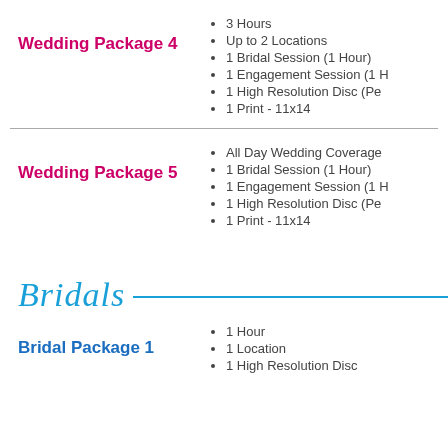Wedding Package 4
3 Hours
Up to 2 Locations
1 Bridal Session (1 Hour)
1 Engagement Session (1 Hour)
1 High Resolution Disc (Pe…)
1 Print - 11x14
Wedding Package 5
All Day Wedding Coverage
1 Bridal Session (1 Hour)
1 Engagement Session (1 Hour)
1 High Resolution Disc (Pe…)
1 Print - 11x14
Bridals
Bridal Package 1
1 Hour
1 Location
1 High Resolution Disc